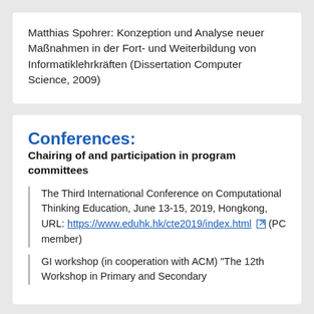Matthias Spohrer: Konzeption und Analyse neuer Maßnahmen in der Fort- und Weiterbildung von Informatiklehrkräften (Dissertation Computer Science, 2009)
Conferences:
Chairing of and participation in program committees
The Third International Conference on Computational Thinking Education, June 13-15, 2019, Hongkong, URL: https://www.eduhk.hk/cte2019/index.html (PC member)
GI workshop (in cooperation with ACM) "The 12th Workshop in Primary and Secondary